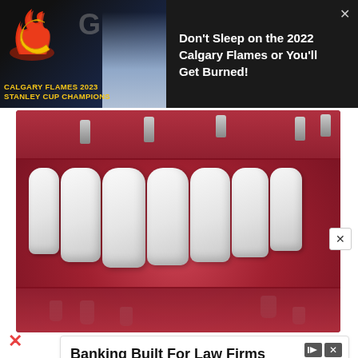[Figure (other): Calgary Flames 2023 Stanley Cup Champions advertisement with team logo, blonde woman, and text overlay on dark background. Close X button top right.]
Don't Sleep on the 2022 Calgary Flames or You'll Get Burned!
[Figure (photo): Medical illustration of dental implants in a mouth showing multiple metal screw implants inserted into red gum tissue with a row of white porcelain teeth/crowns attached. Close X button on right side.]
[Figure (other): Advertisement: Banking Built For Law Firms. Dedicated Support From Bankers Who Know Attorneys. Get All Your Banking Needs. Nota. Open button. Ad icons top right.]